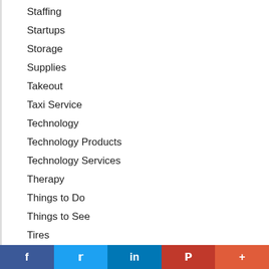Staffing
Startups
Storage
Supplies
Takeout
Taxi Service
Technology
Technology Products
Technology Services
Therapy
Things to Do
Things to See
Tires
Tools